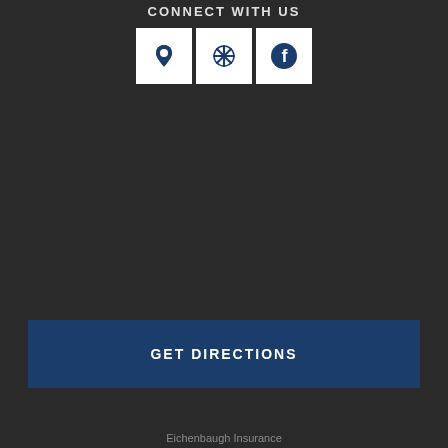CONNECT WITH US
[Figure (other): Three social media icon buttons: Google Maps location pin, Yelp burst icon, and Facebook 'f' icon, each in a white square box]
GET DIRECTIONS
Eichenbaugh Insurance